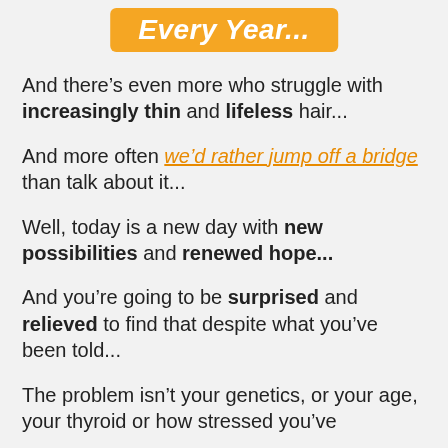Every Year...
And there’s even more who struggle with increasingly thin and lifeless hair...
And more often we’d rather jump off a bridge than talk about it...
Well, today is a new day with new possibilities and renewed hope...
And you’re going to be surprised and relieved to find that despite what you’ve been told...
The problem isn’t your genetics, or your age, your thyroid or how stressed you’ve